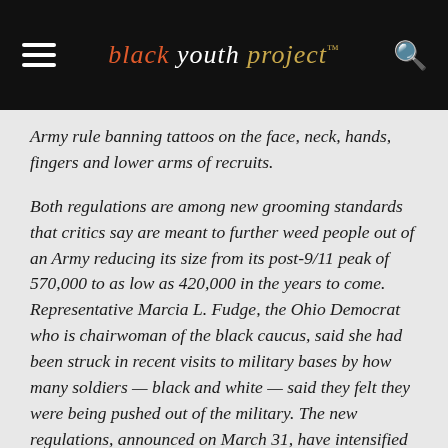black youth project™
Army rule banning tattoos on the face, neck, hands, fingers and lower arms of recruits.

Both regulations are among new grooming standards that critics say are meant to further weed people out of an Army reducing its size from its post-9/11 peak of 570,000 to as low as 420,000 in the years to come. Representative Marcia L. Fudge, the Ohio Democrat who is chairwoman of the black caucus, said she had been struck in recent visits to military bases by how many soldiers — black and white — said they felt they were being pushed out of the military. The new regulations, announced on March 31, have intensified that feeling, she said.